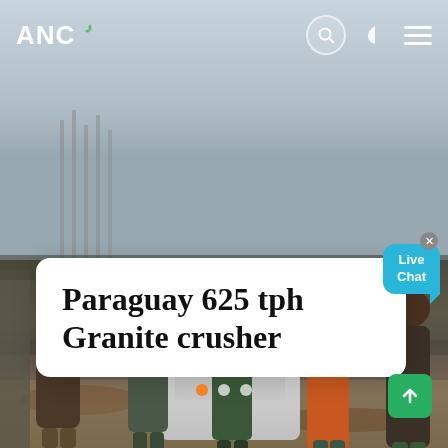[Figure (photo): Workers standing in front of a granite crusher machine at a construction/mining site. Background shows a hazy sky and construction rebar. Workers are wearing work clothes and boots. The crusher is a white/grey industrial machine.]
ANC
Paraguay 625 tph Granite crusher
[Figure (infographic): Live Chat speech bubble button in cyan/blue color with close X button]